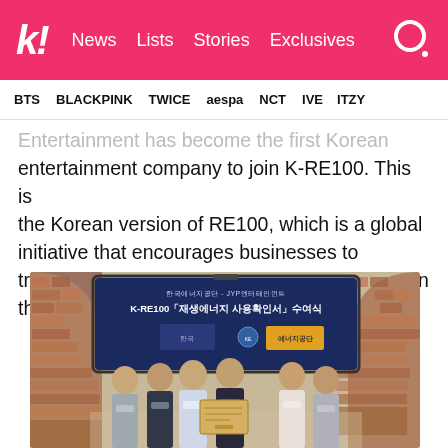k! News Lists Stories Exclusives
BTS BLACKPINK TWICE aespa NCT IVE ITZY
Entertainment has become the first Korean entertainment company to join K-RE100. This is the Korean version of RE100, which is a global initiative that encourages businesses to transition to using 100% renewable electricity in their productions.
[Figure (photo): Six people standing in front of a screen displaying Korean text about K-RE100 certificate ceremony (한국에너지공단-JYP엔터테인먼트 K-RE100 재생에너지 사용확인서 수여식). All wearing masks. Two center people holding a certificate/document.]